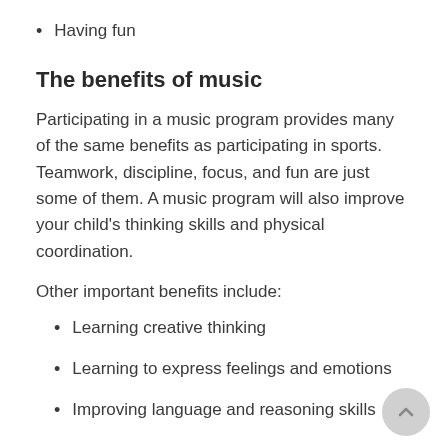Having fun
The benefits of music
Participating in a music program provides many of the same benefits as participating in sports. Teamwork, discipline, focus, and fun are just some of them. A music program will also improve your child's thinking skills and physical coordination.
Other important benefits include:
Learning creative thinking
Learning to express feelings and emotions
Improving language and reasoning skills